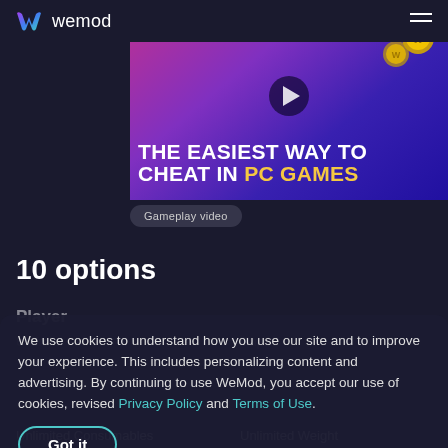wemod
[Figure (screenshot): WeMod promotional hero image with text THE EASIEST WAY TO CHEAT IN PC GAMES on a pink/purple gradient background with coins and game elements]
Gameplay video
10 options
Player
We use cookies to understand how you use our site and to improve your experience. This includes personalizing content and advertising. By continuing to use WeMod, you accept our use of cookies, revised Privacy Policy and Terms of Use.
Got it
Unlimited Consumables
Unlimited Weight